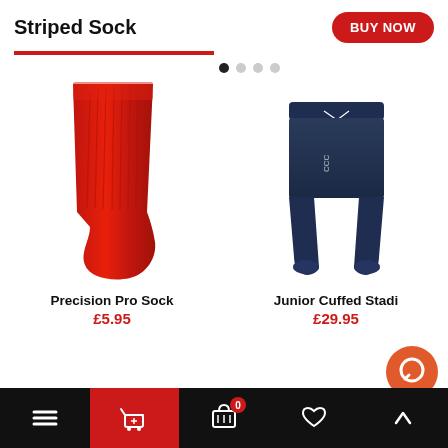Striped Sock
BUY NOW
[Figure (photo): Red striped football sock product image]
[Figure (photo): Navy blue junior cuffed stadium pants product image]
Precision Pro Sock
£5.95
Junior Cuffed Stadi…
£29.95
Navigation bar: Menu, Cart, Basket (0), Favourite, Up